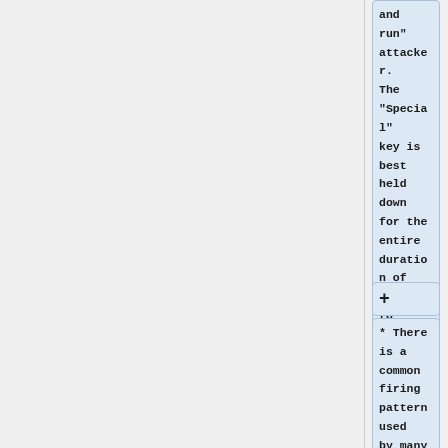and run" attacker. The "Special" key is best held down for the entire duration of combat to maximize energy recovery.
+
* There is a common firing pattern used by many Fury pilots known